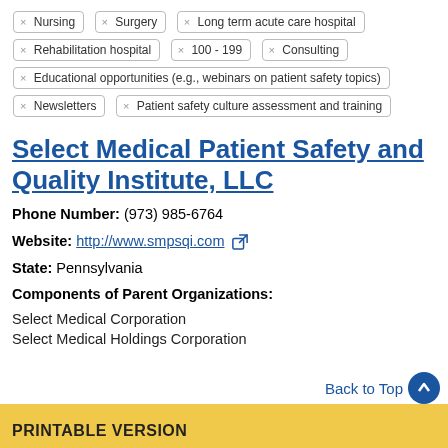× Nursing
× Surgery
× Long term acute care hospital
× Rehabilitation hospital
× 100 - 199
× Consulting
× Educational opportunities (e.g., webinars on patient safety topics)
× Newsletters
× Patient safety culture assessment and training
Select Medical Patient Safety and Quality Institute, LLC
Phone Number: (973) 985-6764
Website: http://www.smpsqi.com
State: Pennsylvania
Components of Parent Organizations:
Select Medical Corporation
Select Medical Holdings Corporation
Back to Top
PRINTABLE VERSION